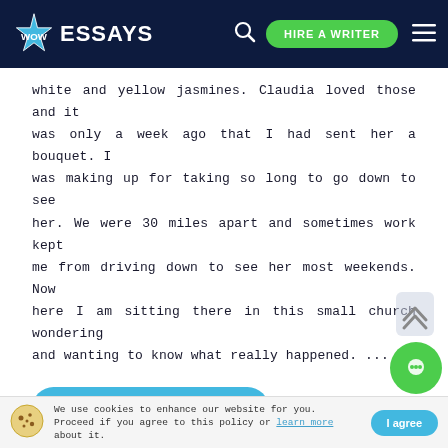WOW ESSAYS — HIRE A WRITER
white and yellow jasmines. Claudia loved those and it was only a week ago that I had sent her a bouquet. I was making up for taking so long to go down to see her. We were 30 miles apart and sometimes work kept me from driving down to see her most weekends. Now here I am sitting there in this small church wondering and wanting to know what really happened. ...
READ MORE
7 Pages
NIGHT
PSYCHOLOGY
WATER
TRANSPORTATION
FRIENDSHIP
LOVE
VEHICLES
FARM
CLAUDIA
We use cookies to enhance our website for you. Proceed if you agree to this policy or learn more about it.